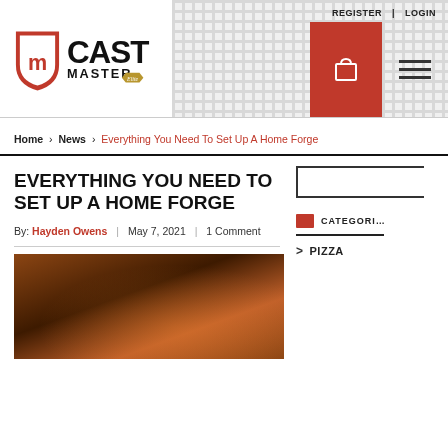[Figure (logo): Cast Master Elite logo with shield icon and text]
REGISTER | LOGIN — navigation header with cart and hamburger menu
Home › News › Everything You Need To Set Up A Home Forge
EVERYTHING YOU NEED TO SET UP A HOME FORGE
By: Hayden Owens | May 7, 2021 | 1 Comment
[Figure (photo): Close-up photo of a person working at a forge, with glowing orange/red fire in background]
[Figure (other): Search input box with magnifying glass icon]
CATEGORIES
> PIZZA